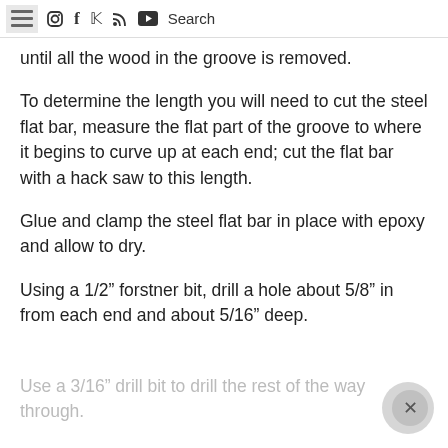☰ instagram facebook pinterest rss youtube Search
until all the wood in the groove is removed.
To determine the length you will need to cut the steel flat bar, measure the flat part of the groove to where it begins to curve up at each end; cut the flat bar with a hack saw to this length.
Glue and clamp the steel flat bar in place with epoxy and allow to dry.
Using a 1/2” forstner bit, drill a hole about 5/8” in from each end and about 5/16” deep.
Use a 3/16” drill bit to drill the rest of the way through.